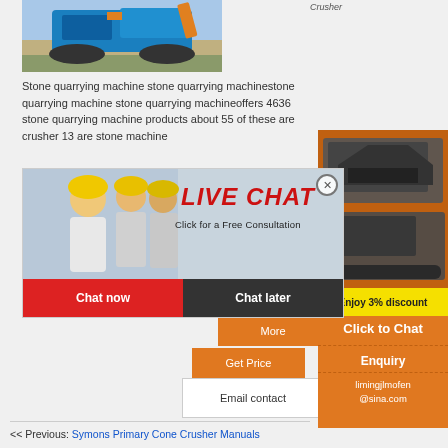[Figure (photo): Blue stone quarrying machine / mobile crusher on tracks in outdoor setting]
Crusher
Stone quarrying machine stone quarrying machinestone quarrying machine stone quarrying machineoffers 4636 stone quarrying machine products about 55 of these are crusher 13 are stone machine
[Figure (screenshot): Live chat popup with workers in hard hats, red LIVE CHAT text, 'Click for a Free Consultation', Chat now and Chat later buttons]
[Figure (photo): Orange sidebar advertisement with machinery images, Enjoy 3% discount, Click to Chat, Enquiry, limingjlmofen@sina.com]
More
Get Price
Email contact
<< Previous: Symons Primary Cone Crusher Manuals